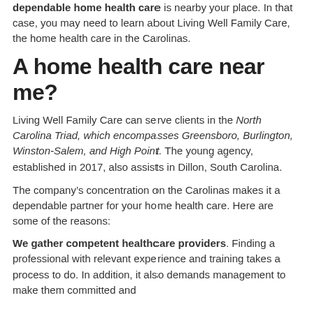dependable home health care is nearby your place. In that case, you may need to learn about Living Well Family Care, the home health care in the Carolinas.
A home health care near me?
Living Well Family Care can serve clients in the North Carolina Triad, which encompasses Greensboro, Burlington, Winston-Salem, and High Point. The young agency, established in 2017, also assists in Dillon, South Carolina.
The company’s concentration on the Carolinas makes it a dependable partner for your home health care. Here are some of the reasons:
We gather competent healthcare providers. Finding a professional with relevant experience and training takes a process to do. In addition, it also demands management to make them committed and